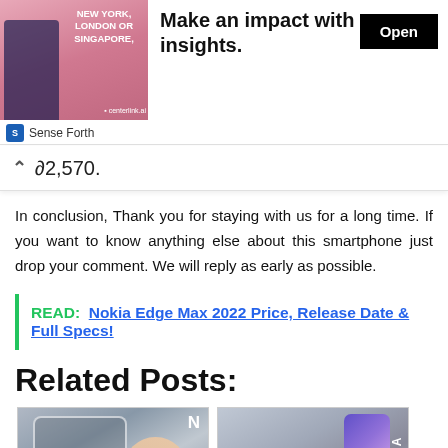[Figure (screenshot): Advertisement banner: image of businessman with text 'NEW YORK, LONDON OR SINGAPORE,' alongside headline 'Make an impact with insights.' and an 'Open' button. Below: 'Sense Forth' source label.]
2,570.
In conclusion, Thank you for staying with us for a long time. If you want to know anything else about this smartphone just drop your comment. We will reply as early as possible.
READ:  Nokia Edge Max 2022 Price, Release Date & Full Specs!
Related Posts:
[Figure (photo): Photo of a transparent/futuristic Nokia phone being held in a hand, with time display showing 8:00, Nokia logo watermark top right.]
[Figure (photo): Photo of a Nokia smartphone next to its retail box with NOKIA branding, purple/blue gradient phone.]